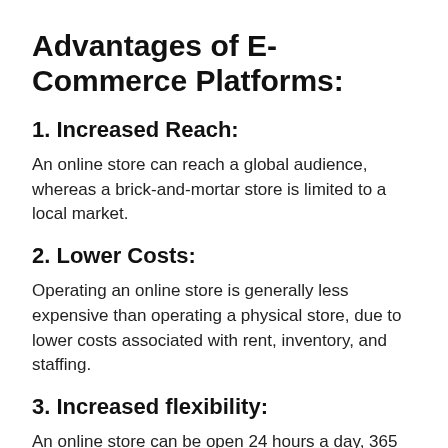Advantages of E-Commerce Platforms:
1. Increased Reach:
An online store can reach a global audience, whereas a brick-and-mortar store is limited to a local market.
2. Lower Costs:
Operating an online store is generally less expensive than operating a physical store, due to lower costs associated with rent, inventory, and staffing.
3. Increased flexibility:
An online store can be open 24 hours a day, 365 days a year, and can offer a greater range of products and